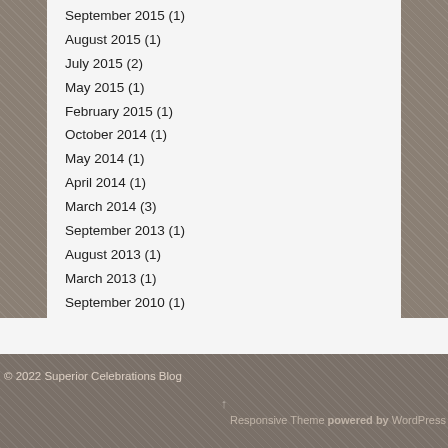September 2015 (1)
August 2015 (1)
July 2015 (2)
May 2015 (1)
February 2015 (1)
October 2014 (1)
May 2014 (1)
April 2014 (1)
March 2014 (3)
September 2013 (1)
August 2013 (1)
March 2013 (1)
September 2010 (1)
© 2022 Superior Celebrations Blog
Responsive Theme powered by WordPress